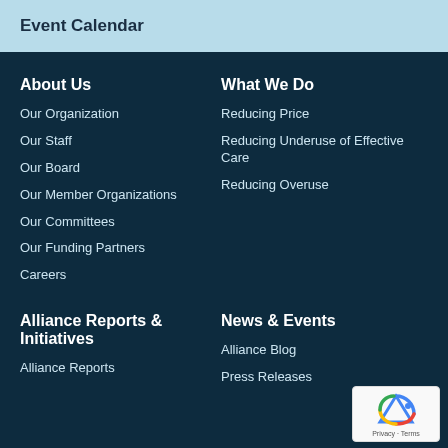Event Calendar
About Us
Our Organization
Our Staff
Our Board
Our Member Organizations
Our Committees
Our Funding Partners
Careers
What We Do
Reducing Price
Reducing Underuse of Effective Care
Reducing Overuse
Alliance Reports & Initiatives
Alliance Reports
News & Events
Alliance Blog
Press Releases